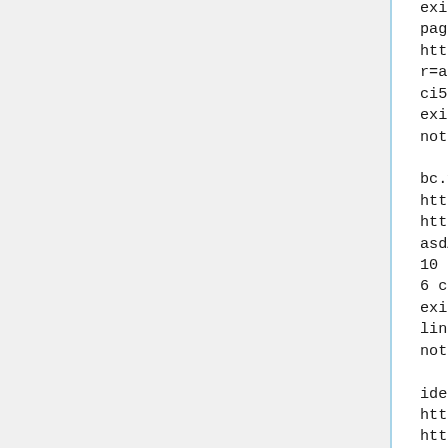existing: 200 - landing page: returns new URL: http://sh.dz24.info/?r=aHR0cHM6Ly93d3cubWVkah ci5kZS8= existing 2: 301 - Location not existing: 404

bc.vc
http://bc.vc/75l6jcF, http://bc.vc/OQhl7Ya
asdASD123
10 hits
6 char, 7 char
existing: 200, no idea on link generation
not existing: 404

idek.net
http://idek.net/CDN, http://idek.net/CND
asdASD123
600
3, some 4 char
existing: 301 - location